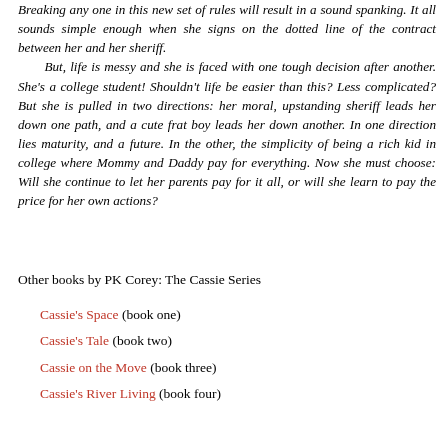Breaking any one in this new set of rules will result in a sound spanking. It all sounds simple enough when she signs on the dotted line of the contract between her and her sheriff.

But, life is messy and she is faced with one tough decision after another. She's a college student! Shouldn't life be easier than this? Less complicated? But she is pulled in two directions: her moral, upstanding sheriff leads her down one path, and a cute frat boy leads her down another. In one direction lies maturity, and a future. In the other, the simplicity of being a rich kid in college where Mommy and Daddy pay for everything. Now she must choose: Will she continue to let her parents pay for it all, or will she learn to pay the price for her own actions?
Other books by PK Corey: The Cassie Series
Cassie's Space (book one)
Cassie's Tale (book two)
Cassie on the Move (book three)
Cassie's River Living (book four)